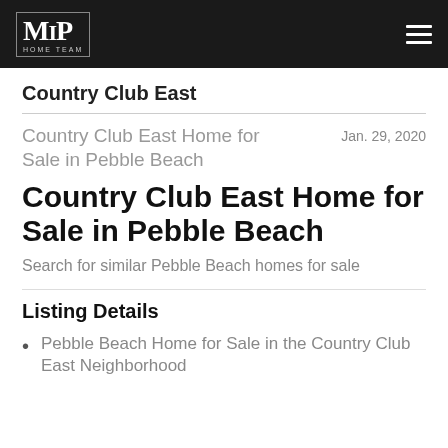MP Home Team
Country Club East
Country Club East Home for Sale in Pebble Beach  Jan. 29, 2020
Country Club East Home for Sale in Pebble Beach
Search for similar Pebble Beach homes for sale
Listing Details
Pebble Beach Home for Sale in the Country Club East Neighborhood